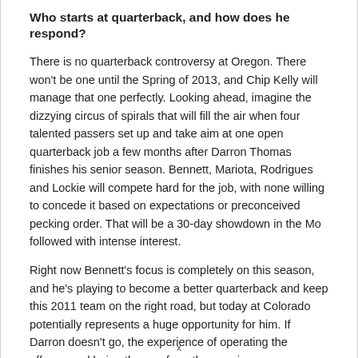Who starts at quarterback, and how does he respond?
There is no quarterback controversy at Oregon. There won't be one until the Spring of 2013, and Chip Kelly will manage that one perfectly. Looking ahead, imagine the dizzying circus of spirals that will fill the air when four talented passers set up and take aim at one open quarterback job a few months after Darron Thomas finishes his senior season. Bennett, Mariota, Rodrigues and Lockie will compete hard for the job, with none willing to concede it based on expectations or preconceived pecking order. That will be a 30-day showdown in the Mo followed with intense interest.
Right now Bennett's focus is completely on this season, and he's playing to become a better quarterback and keep this 2011 team on the right road, but today at Colorado potentially represents a huge opportunity for him. If Darron doesn't go, the experience of operating the offense and being the guy from the opening
x